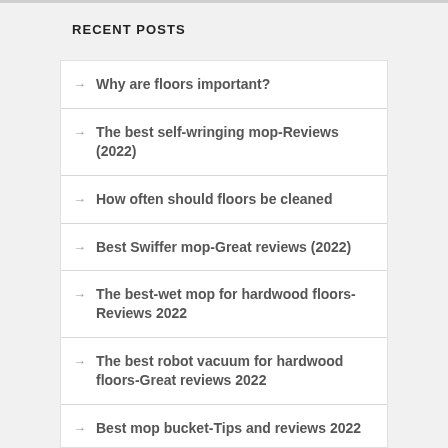RECENT POSTS
Why are floors important?
The best self-wringing mop-Reviews (2022)
How often should floors be cleaned
Best Swiffer mop-Great reviews (2022)
The best-wet mop for hardwood floors-Reviews 2022
The best robot vacuum for hardwood floors-Great reviews 2022
Best mop bucket-Tips and reviews 2022